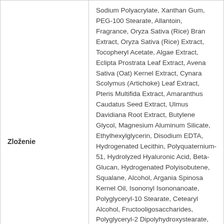| Zloženie | Ingredients |
| --- | --- |
| Zloženie | Sodium Polyacrylate, Xanthan Gum, PEG-100 Stearate, Allantoin, Fragrance, Oryza Sativa (Rice) Bran Extract, Oryza Sativa (Rice) Extract, Tocopheryl Acetate, Algae Extract, Eclipta Prostrata Leaf Extract, Avena Sativa (Oat) Kernel Extract, Cynara Scolymus (Artichoke) Leaf Extract, Pteris Multifida Extract, Amaranthus Caudatus Seed Extract, Ulmus Davidiana Root Extract, Butylene Glycol, Magnesium Aluminum Silicate, Ethylhexylglycerin, Disodium EDTA, Hydrogenated Lecithin, Polyquaternium-51, Hydrolyzed Hyaluronic Acid, Beta-Glucan, Hydrogenated Polyisobutene, Squalane, Alcohol, Argania Spinosa Kernel Oil, Isononyl Isononanoate, Polyglyceryl-10 Stearate, Cetearyl Alcohol, Fructooligosaccharides, Polyglyceryl-2 Dipolyhydroxystearate, Lecithin, Inulin Lauryl Carbamate, Disodium Stearoyl Glutamate. RICE SERUM: Aspergillus/Rice Germ Ferment Extract Filtrate, Propanediol, Glycerin, |